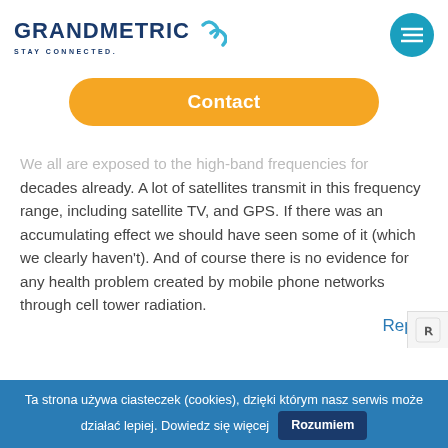GRANDMETRIC STAY CONNECTED.
Contact
We all are exposed to the high-band frequencies for decades already. A lot of satellites transmit in this frequency range, including satellite TV, and GPS. If there was an accumulating effect we should have seen some of it (which we clearly haven't). And of course there is no evidence for any health problem created by mobile phone networks through cell tower radiation.
Reply
Ta strona używa ciasteczek (cookies), dzięki którym nasz serwis może działać lepiej. Dowiedz się więcej  Rozumiem